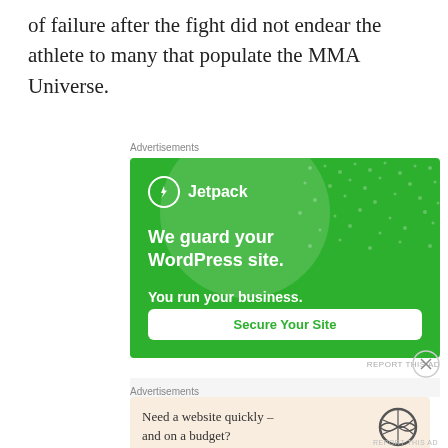of failure after the fight did not endear the athlete to many that populate the MMA Universe.
Advertisements
[Figure (illustration): Jetpack advertisement banner on green background. Shows Jetpack logo with lightning bolt icon, headline 'We guard your WordPress site. You run your business.' and a 'Secure Your Site' button.]
REPORT THIS AD
Advertisements
[Figure (illustration): WordPress advertisement banner on light peach background. Shows text 'Need a website quickly – and on a budget?' with WordPress logo.]
REPORT THIS AD